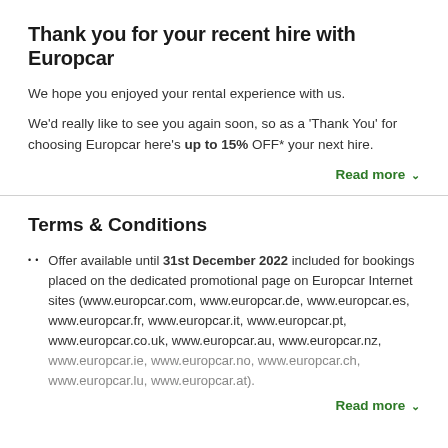Thank you for your recent hire with Europcar
We hope you enjoyed your rental experience with us.
We'd really like to see you again soon, so as a 'Thank You' for choosing Europcar here's up to 15% OFF* your next hire.
Read more
Terms & Conditions
Offer available until 31st December 2022 included for bookings placed on the dedicated promotional page on Europcar Internet sites (www.europcar.com, www.europcar.de, www.europcar.es, www.europcar.fr, www.europcar.it, www.europcar.pt, www.europcar.co.uk, www.europcar.au, www.europcar.nz, www.europcar.ie, www.europcar.no, www.europcar.ch, www.europcar.lu, www.europcar.at).
Read more